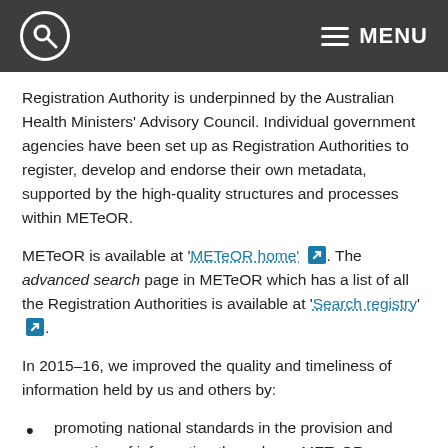MENU
Registration Authority is underpinned by the Australian Health Ministers' Advisory Council. Individual government agencies have been set up as Registration Authorities to register, develop and endorse their own metadata, supported by the high-quality structures and processes within METeOR.
METeOR is available at 'METeOR home'. The advanced search page in METeOR which has a list of all the Registration Authorities is available at 'Search registry'.
In 2015–16, we improved the quality and timeliness of information held by us and others by:
promoting national standards in the provision and reporting of information through our METeOR information standards repository, where:
the National health data dictionary and the National housing and homelessness data dictionary were both updated on a regular basis throughout